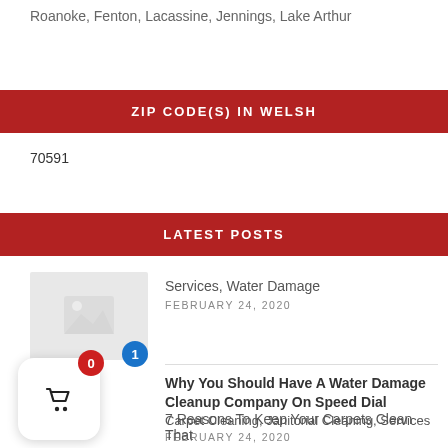Roanoke, Fenton, Lacassine, Jennings, Lake Arthur
ZIP CODE(S) IN WELSH
70591
LATEST POSTS
Services, Water Damage
FEBRUARY 24, 2020
Why You Should Have A Water Damage Cleanup Company On Speed Dial
Carpet Cleaning, Janitorial Cleaning, Services
FEBRUARY 24, 2020
7 Reasons To Keep Your Carpets Clean That...